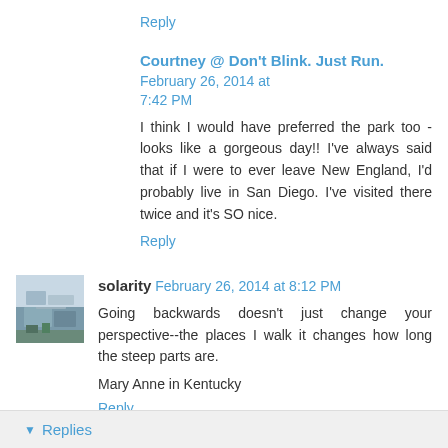Reply
Courtney @ Don't Blink. Just Run.  February 26, 2014 at 7:42 PM
I think I would have preferred the park too - looks like a gorgeous day!! I've always said that if I were to ever leave New England, I'd probably live in San Diego. I've visited there twice and it's SO nice.
Reply
solarity  February 26, 2014 at 8:12 PM
Going backwards doesn't just change your perspective--the places I walk it changes how long the steep parts are.
Mary Anne in Kentucky
Reply
Replies